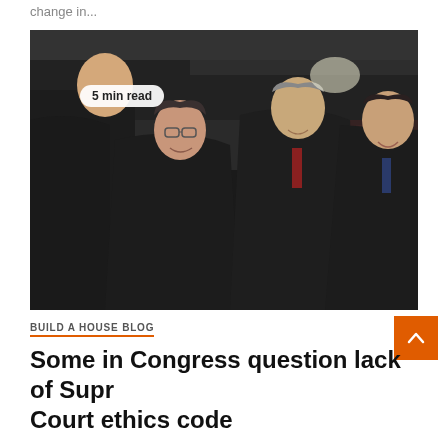change in...
[Figure (photo): Four Supreme Court Justices in black robes standing together in what appears to be a formal venue. From left: a tall man in profile, a smiling woman with glasses, a man looking upward, and a man smiling on the right.]
5 min read
BUILD A HOUSE BLOG
Some in Congress question lack of Supreme Court ethics code